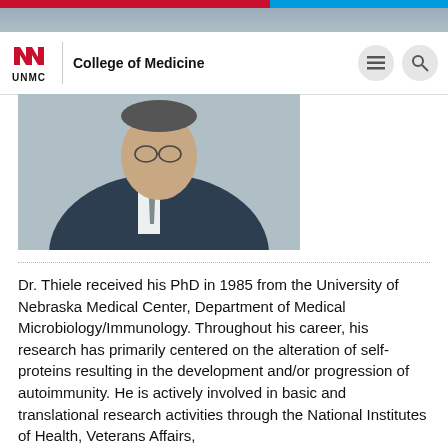[Figure (photo): Portrait photo of Dr. Thiele in a suit and tie, partially visible at the top and middle of the page]
UNMC | College of Medicine
Dr. Thiele received his PhD in 1985 from the University of Nebraska Medical Center, Department of Medical Microbiology/Immunology. Throughout his career, his research has primarily centered on the alteration of self-proteins resulting in the development and/or progression of autoimmunity. He is actively involved in basic and translational research activities through the National Institutes of Health, Veterans Affairs, U.S. Department of Defense, American Inst...